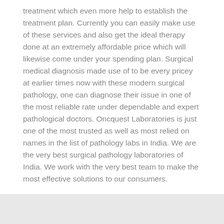treatment which even more help to establish the treatment plan. Currently you can easily make use of these services and also get the ideal therapy done at an extremely affordable price which will likewise come under your spending plan. Surgical medical diagnosis made use of to be every pricey at earlier times now with these modern surgical pathology, one can diagnose their issue in one of the most reliable rate under dependable and expert pathological doctors. Oncquest Laboratories is just one of the most trusted as well as most relied on names in the list of pathology labs in India. We are the very best surgical pathology laboratories of India. We work with the very best team to make the most effective solutions to our consumers.